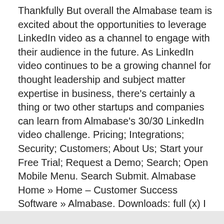Thankfully But overall the Almabase team is excited about the opportunities to leverage LinkedIn video as a channel to engage with their audience in the future. As LinkedIn video continues to be a growing channel for thought leadership and subject matter expertise in business, there's certainly a thing or two other startups and companies can learn from Almabase's 30/30 LinkedIn video challenge. Pricing; Integrations; Security; Customers; About Us; Start your Free Trial; Request a Demo; Search; Open Mobile Menu. Search Submit. Almabase Home » Home – Customer Success Software » Almabase. Downloads: full (x) I am the footer call-to-action block, here you can add some relevant/important information about your company or product.